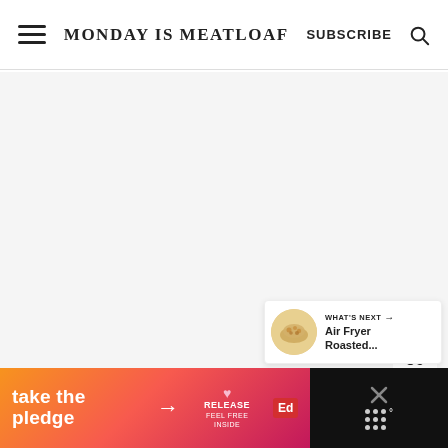MONDAY IS MEATLOAF | SUBSCRIBE
[Figure (screenshot): Light gray content area filling main body of the page, blank/loading state]
[Figure (infographic): Floating action buttons: teal heart icon, count '36', share icon]
[Figure (infographic): What's Next card with thumbnail of roasted food and text 'WHAT'S NEXT → Air Fryer Roasted...']
[Figure (infographic): Advertisement banner: 'take the pledge' with orange-pink gradient, RELEASE logo, Ed badge, X close button and grid dots on dark right side]